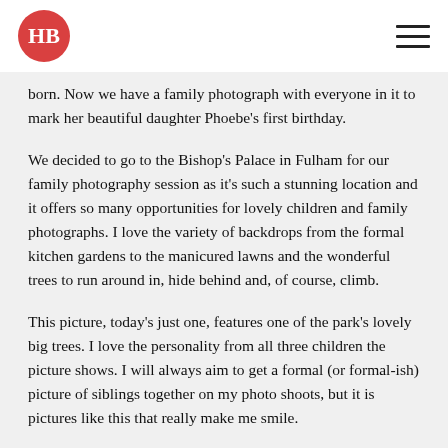HB [logo] with hamburger menu
born. Now we have a family photograph with everyone in it to mark her beautiful daughter Phoebe's first birthday.
We decided to go to the Bishop's Palace in Fulham for our family photography session as it's such a stunning location and it offers so many opportunities for lovely children and family photographs. I love the variety of backdrops from the formal kitchen gardens to the manicured lawns and the wonderful trees to run around in, hide behind and, of course, climb.
This picture, today's just one, features one of the park's lovely big trees. I love the personality from all three children the picture shows. I will always aim to get a formal (or formal-ish) picture of siblings together on my photo shoots, but it is pictures like this that really make me smile.